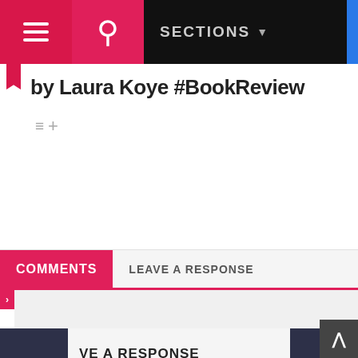SECTIONS
by Laura Koye #BookReview
COMMENTS
LEAVE A RESPONSE
VE A RESPONSE
omment